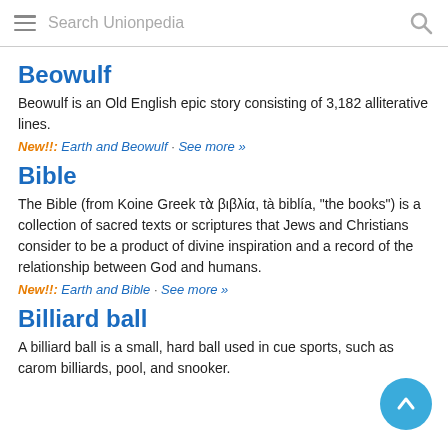Search Unionpedia
Beowulf
Beowulf is an Old English epic story consisting of 3,182 alliterative lines.
New!!: Earth and Beowulf · See more »
Bible
The Bible (from Koine Greek τὰ βιβλία, tà biblía, "the books") is a collection of sacred texts or scriptures that Jews and Christians consider to be a product of divine inspiration and a record of the relationship between God and humans.
New!!: Earth and Bible · See more »
Billiard ball
A billiard ball is a small, hard ball used in cue sports, such as carom billiards, pool, and snooker.